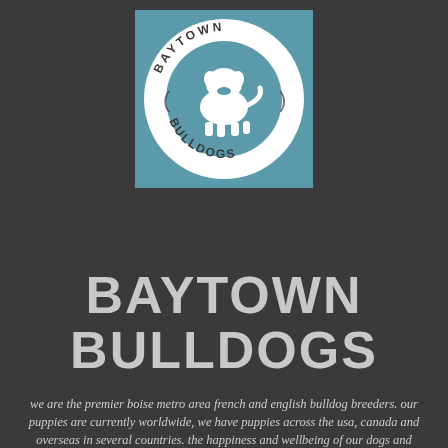[Figure (logo): Baytown Bulldogs logo: teal square background with a white circular badge containing a white silhouette of a bulldog and the text 'BAYTOWN BULLDOGS' arranged in a circle]
BAYTOWN BULLDOGS
we are the premier boise metro area french and english bulldog breeders. our puppies are currently worldwide, we have puppies across the usa, canada and overseas in several countries. the happiness and wellbeing of our dogs and puppies is top priority. we are a small breeding program that focuses on the health, quality, temperament, structure and look of the breed.